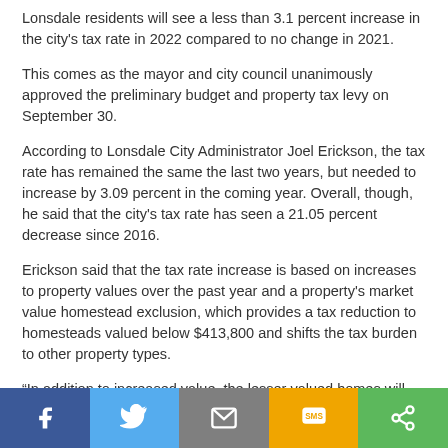Lonsdale residents will see a less than 3.1 percent increase in the city's tax rate in 2022 compared to no change in 2021.
This comes as the mayor and city council unanimously approved the preliminary budget and property tax levy on September 30.
According to Lonsdale City Administrator Joel Erickson, the tax rate has remained the same the last two years, but needed to increase by 3.09 percent in the coming year. Overall, though, he said that the city's tax rate has seen a 21.05 percent decrease since 2016.
Erickson said that the tax rate increase is based on increases to property values over the past year and a property's market value homestead exclusion, which provides a tax reduction to homesteads valued below $413,800 and shifts the tax burden to other property types.
“In addition to increased value, the lesser valued homes will see their Market Value Homestead Exclusion reduced at a larger percentage than more expensive homes that already receive less MVHE,” he said.
The preliminary tax levy has been set at $2,445,000. This is compared to $2,241,250 in 2021.
[Figure (infographic): Social sharing bar with Facebook, Twitter, Email, SMS, and Share buttons]